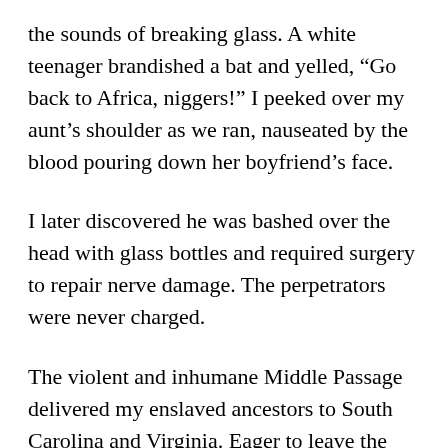the sounds of breaking glass. A white teenager brandished a bat and yelled, “Go back to Africa, niggers!” I peeked over my aunt’s shoulder as we ran, nauseated by the blood pouring down her boyfriend’s face.
I later discovered he was bashed over the head with glass bottles and required surgery to repair nerve damage. The perpetrators were never charged.
The violent and inhumane Middle Passage delivered my enslaved ancestors to South Carolina and Virginia. Eager to leave the trauma they endured from the overt racism in the South, both my grandmothers participated